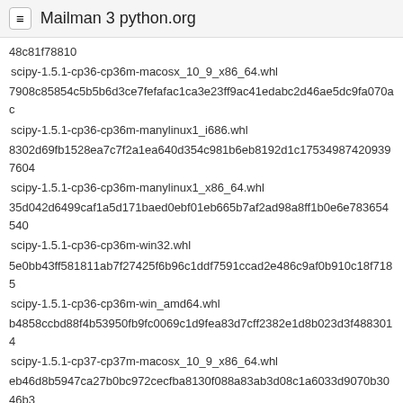≡ Mailman 3 python.org
48c81f78810
 scipy-1.5.1-cp36-cp36m-macosx_10_9_x86_64.whl
7908c85854c5b5b6d3ce7fefafac1ca3e23ff9ac41edabc2d46ae5dc9fa070ac
 scipy-1.5.1-cp36-cp36m-manylinux1_i686.whl
8302d69fb1528ea7c7f2a1ea640d354c981b6eb8192d1c175349874209397604
 scipy-1.5.1-cp36-cp36m-manylinux1_x86_64.whl
35d042d6499caf1a5d171baed0ebf01eb665b7af2ad98a8ff1b0e6e783654540
 scipy-1.5.1-cp36-cp36m-win32.whl
5e0bb43ff581811ab7f27425f6b96c1ddf7591ccad2e486c9af0b910c18f7185
 scipy-1.5.1-cp36-cp36m-win_amd64.whl
b4858ccbd88f4b53950fb9fc0069c1d9fea83d7cff2382e1d8b023d3f4883014
 scipy-1.5.1-cp37-cp37m-macosx_10_9_x86_64.whl
eb46d8b5947ca27b0bc972cecfba8130f088a83ab3d08c1a6033d9070b3046b3